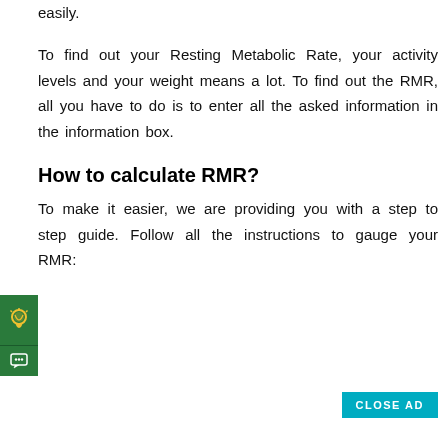easily.
To find out your Resting Metabolic Rate, your activity levels and your weight means a lot. To find out the RMR, all you have to do is to enter all the asked information in the information box.
How to calculate RMR?
To make it easier, we are providing you with a step to step guide. Follow all the instructions to gauge your RMR:
[Figure (other): Green ad widget with lightbulb icon and chat bubble icon on the left side of the page]
[Figure (other): CLOSE AD button in teal/cyan color at bottom right]